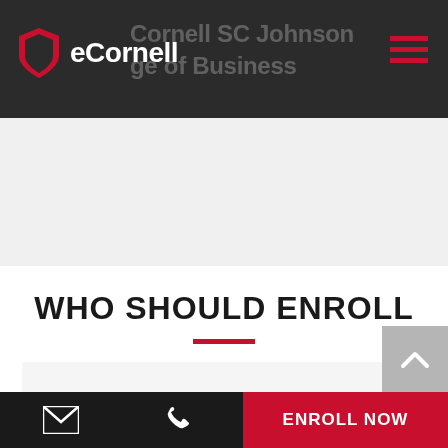eCornell | Cornell SC Johnson College of Business
WHO SHOULD ENROLL
Leaders and executives at all levels, in any industry
ENROLL NOW